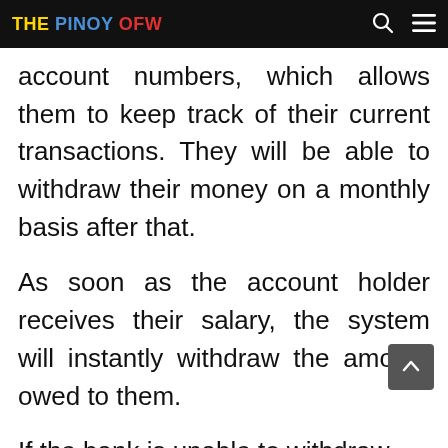THE PINOY OFW
account numbers, which allows them to keep track of their current transactions. They will be able to withdraw their money on a monthly basis after that.
As soon as the account holder receives their salary, the system will instantly withdraw the amount owed to them.
If the bank is unable to withdraw